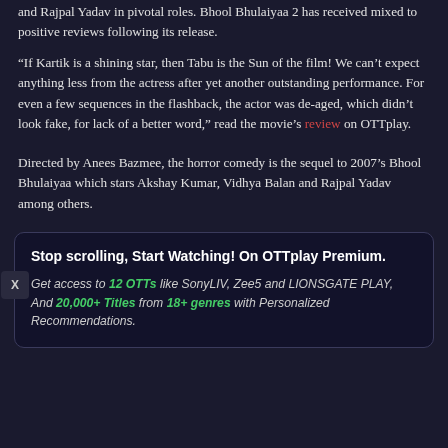and Rajpal Yadav in pivotal roles. Bhool Bhulaiyaa 2 has received mixed to positive reviews following its release.
“If Kartik is a shining star, then Tabu is the Sun of the film! We can’t expect anything less from the actress after yet another outstanding performance. For even a few sequences in the flashback, the actor was de-aged, which didn’t look fake, for lack of a better word,” read the movie’s review on OTTplay.
Directed by Anees Bazmee, the horror comedy is the sequel to 2007’s Bhool Bhulaiyaa which stars Akshay Kumar, Vidhya Balan and Rajpal Yadav among others.
Stop scrolling, Start Watching! On OTTplay Premium. Get access to 12 OTTs like SonyLIV, Zee5 and LIONSGATE PLAY, And 20,000+ Titles from 18+ genres with Personalized Recommendations.